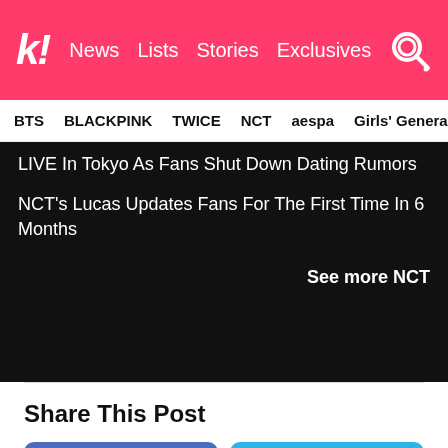Koreaboo — News | Lists | Stories | Exclusives
BTS | BLACKPINK | TWICE | NCT | aespa | Girls' Generation
LIVE In Tokyo As Fans Shut Down Dating Rumors
NCT's Lucas Updates Fans For The First Time In 6 Months
See more NCT
Share This Post
Facebook
Twitter